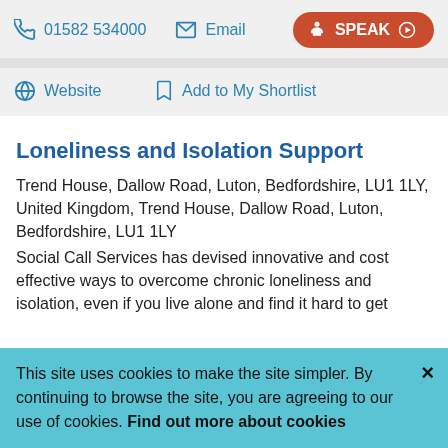01582 534000
Email
SPEAK
Website
Add to My Shortlist
Loneliness and Isolation Support
Trend House, Dallow Road, Luton, Bedfordshire, LU1 1LY, United Kingdom, Trend House, Dallow Road, Luton, Bedfordshire, LU1 1LY
Social Call Services has devised innovative and cost effective ways to overcome chronic loneliness and isolation, even if you live alone and find it hard to get
This site uses cookies to make the site simpler. By continuing to browse the site, you are agreeing to our use of cookies. Find out more about cookies